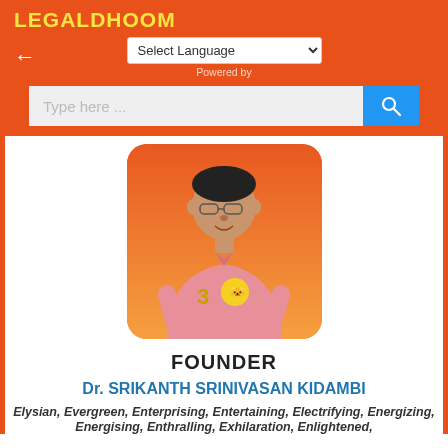LEGALDHOOM
Select Language  |  Powered by
[Figure (screenshot): Search bar with placeholder text 'Type here ...' and a blue search button with magnifying glass icon]
[Figure (photo): Photo of Dr. Srikanth Srinivasan Kidambi wearing a pink polo shirt with a cartoon character sticker, against an orange gradient background, displayed in a rounded rectangle frame]
FOUNDER
Dr. SRIKANTH SRINIVASAN KIDAMBI
Elysian, Evergreen, Enterprising, Entertaining, Electrifying, Energizing,
Energising, Enthralling, Exhilaration, Enlightened,